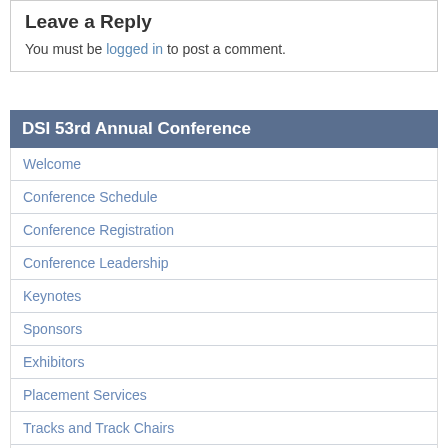Leave a Reply
You must be logged in to post a comment.
DSI 53rd Annual Conference
Welcome
Conference Schedule
Conference Registration
Conference Leadership
Keynotes
Sponsors
Exhibitors
Placement Services
Tracks and Track Chairs
Award Competitions and Coordinators
Specific Interest Group